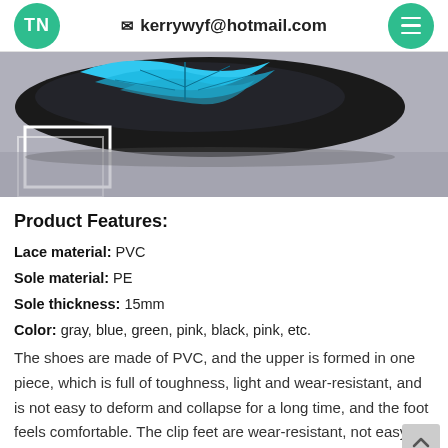TN  ✉ kerrywyf@hotmail.com
[Figure (photo): Close-up photo of a shoe with blue leaf/butterfly pattern on a gray surface, with a white geometric frame element in the lower-left corner.]
Product Features:
Lace material: PVC
Sole material: PE
Sole thickness: 15mm
Color: gray, blue, green, pink, black, pink, etc.
The shoes are made of PVC, and the upper is formed in one piece, which is full of toughness, light and wear-resistant, and is not easy to deform and collapse for a long time, and the foot feels comfortable. The clip feet are wear-resistant, not easy to deform, and the lines handle the flowing clouds, which